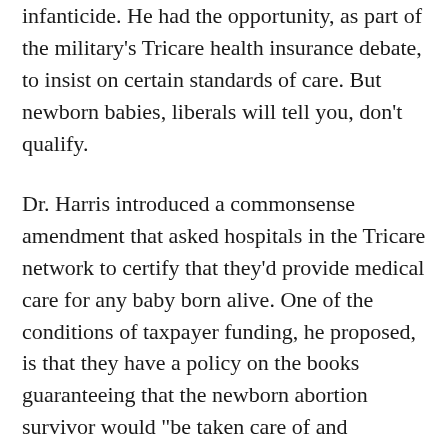infanticide. He had the opportunity, as part of the military's Tricare health insurance debate, to insist on certain standards of care. But newborn babies, liberals will tell you, don't qualify.
Dr. Harris introduced a commonsense amendment that asked hospitals in the Tricare network to certify that they'd provide medical care for any baby born alive. One of the conditions of taxpayer funding, he proposed, is that they have a policy on the books guaranteeing that the newborn abortion survivor would "be taken care of and resuscitated." "It's very simple," he explained. "There are no criminal penalties... So this is not overly burdensome." And yet, he shook his head,"... "he came across"...